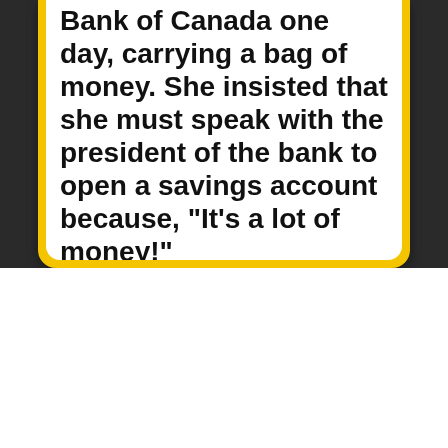Bank of Canada one day, carrying a bag of money. She insisted that she must speak with the president of the bank to open a savings account because, "It's a lot of money!" After much hemming and hawing, the bank staff finally ushered her into the president's office (the
We use cookies on our website to give you the most relevant experience by remembering your preferences and repeat visits. By clicking “Accept”, you consent to the use of ALL the cookies.
Cookie settings
ACCEPT